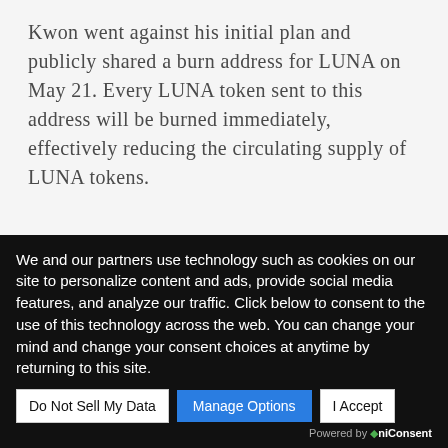Kwon went against his initial plan and publicly shared a burn address for LUNA on May 21. Every LUNA token sent to this address will be burned immediately, effectively reducing the circulating supply of LUNA tokens.
To clarify, as I've noted multiple times i dont think sending tokens to this address to burn tokens is a good idea – nothing happens except that you
We and our partners use technology such as cookies on our site to personalize content and ads, provide social media features, and analyze our traffic. Click below to consent to the use of this technology across the web. You can change your mind and change your consent choices at anytime by returning to this site.